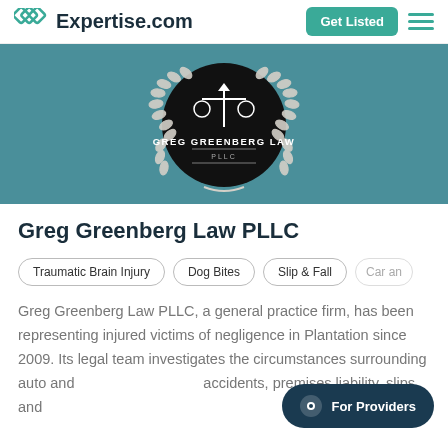Expertise.com
[Figure (logo): Greg Greenberg Law PLLC logo — circular black badge with scales of justice and laurel wreath on teal background]
Greg Greenberg Law PLLC
Traumatic Brain Injury
Dog Bites
Slip & Fall
Car an…
Greg Greenberg Law PLLC, a general practice firm, has been representing injured victims of negligence in Plantation since 2009. Its legal team investigates the circumstances surrounding auto and accidents, premises liability, slips and